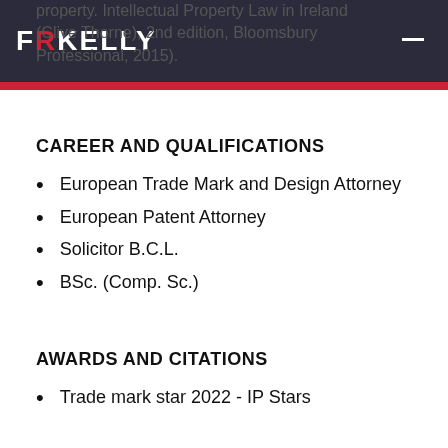FRKELLY (logo header bar)
property. Intellectual Property Law in Ireland (Clive Thorne), 2nd edition, Bloomsbury Professional, 2015).
CAREER AND QUALIFICATIONS
European Trade Mark and Design Attorney
European Patent Attorney
Solicitor B.C.L.
BSc. (Comp. Sc.)
AWARDS AND CITATIONS
Trade mark star 2022 - IP Stars